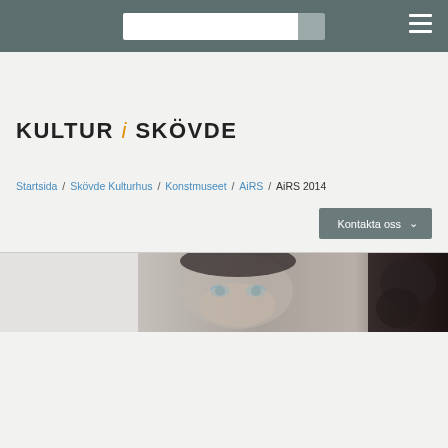KULTUR i SKÖVDE - navigation bar with search and hamburger menu
KULTUR i SKÖVDE
Startsida / Skövde Kulturhus / Konstmuseet / AiRS / AiRS 2014
Kontakta oss
[Figure (photo): Partial face of a woman with dark hair and light eyes, artistic black and white/sepia toned portrait image used as a banner.]